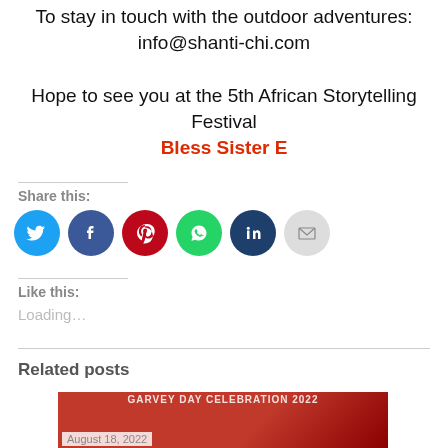To stay in touch with the outdoor adventures: info@shanti-chi.com

Hope to see you at the 5th African Storytelling Festival
Bless Sister E
Share this:
[Figure (infographic): Row of 6 social media share icon circles: Twitter (light blue), Facebook (dark blue), Pinterest (dark red), WhatsApp (green), LinkedIn (dark navy), Email (light gray)]
Like this:
Loading...
Related posts
[Figure (photo): Garvey Day Celebration event image with red background and costumed figure, dated August 18, 2022]